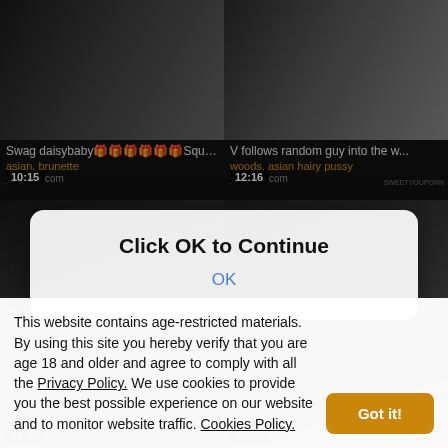[Figure (screenshot): Video thumbnail top-left with duration 10:15]
Swag daisybaby🎁🎁🎁🎁🎁🎁Squid ga...
asian, brunette
youporn.com
[Figure (screenshot): Video thumbnail top-right with duration 12:16]
V follows random guy into the w...
woods, asian hairy pussy
youporn.com
[Figure (screenshot): Video thumbnail bottom-left with duration 13:53]
[Figure (screenshot): Video thumbnail bottom-right with duration 07:04]
Click OK to Continue
OK
This website contains age-restricted materials. By using this site you hereby verify that you are age 18 and older and agree to comply with all the Privacy Policy. We use cookies to provide you the best possible experience on our website and to monitor website traffic. Cookies Policy.
Got it!